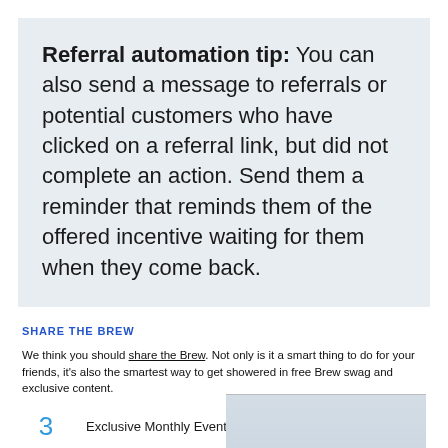Referral automation tip: You can also send a message to referrals or potential customers who have clicked on a referral link, but did not complete an action. Send them a reminder that reminds them of the offered incentive waiting for them when they come back.
SHARE THE BREW
We think you should share the Brew. Not only is it a smart thing to do for your friends, it's also the smartest way to get showered in free Brew swag and exclusive content.
3  Exclusive Monthly Event
5  Stickers